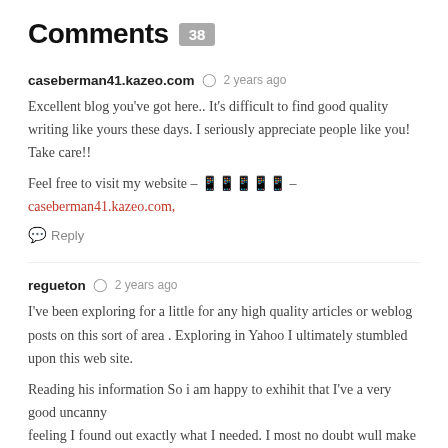Comments 38
caseberman41.kazeo.com  2 years ago
Excellent blog you've got here.. It's difficult to find good quality writing like yours these days. I seriously appreciate people like you! Take care!!
Feel free to visit my website – 홈페이지 – caseberman41.kazeo.com,
Reply
regueton  2 years ago
I've been exploring for a little for any high quality articles or weblog posts on this sort of area . Exploring in Yahoo I ultimately stumbled upon this web site.
Reading his information So i am happy to exhihit that I've a very good uncanny feeling I found out exactly what I needed. I most no doubt wull make